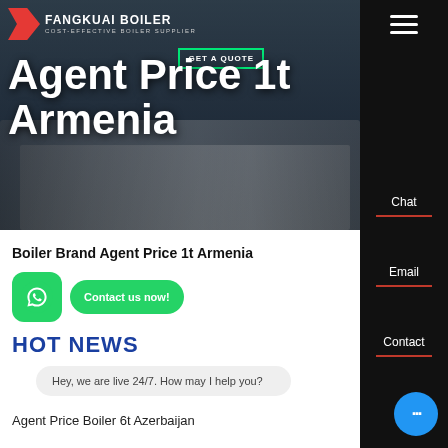[Figure (screenshot): Hero banner showing industrial boilers background with overlaid white bold text reading 'Agent Price 1t Armenia'. Logo in top-left shows FANGKUAI BOILER / COST-EFFECTIVE BOILER SUPPLIER. GET A QUOTE button visible top right of hero.]
Agent Price 1t Armenia
Boiler Brand Agent Price 1t Armenia
Contact us now!
HOT NEWS
Hey, we are live 24/7. How may I help you?
Agent Price Boiler 6t Azerbaijan